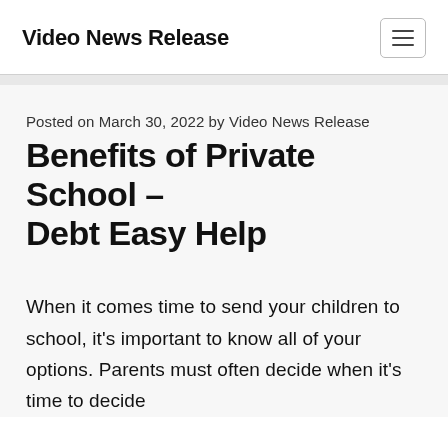Video News Release
Posted on March 30, 2022 by Video News Release
Benefits of Private School – Debt Easy Help
When it comes time to send your children to school, it's important to know all of your options. Parents must often decide when it's time to decide